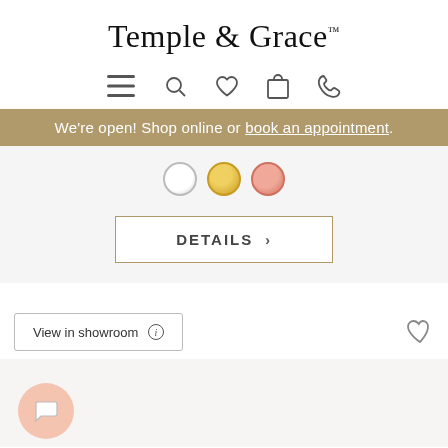Temple & Grace™
[Figure (screenshot): Navigation icons: hamburger menu, search, heart/wishlist, shopping bag, phone]
We're open! Shop online or book an appointment.
[Figure (other): Three color swatches: white/silver, yellow gold, rose gold]
DETAILS >
View in showroom ⓘ
[Figure (other): Chat bubble icon (peach/salmon circle with speech bubble)]